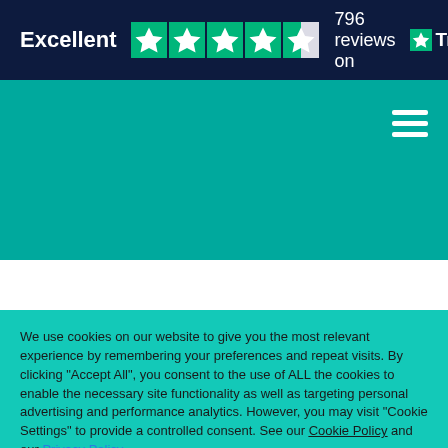Excellent ★★★★½ 796 reviews on Trustpilot
[Figure (screenshot): Teal/turquoise website header area with hamburger menu icon in top right]
We use cookies on our website to give you the most relevant experience by remembering your preferences and repeat visits. By clicking "Accept All", you consent to the use of ALL the cookies to enable the necessary site functionality as well as targeting personal advertising and performance analytics. However, you may visit "Cookie Settings" to provide a controlled consent. See our Cookie Policy and our Privacy Policy
Cookie Settings   Accept All